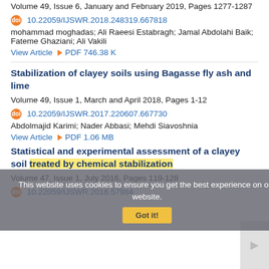Volume 49, Issue 6, January and February 2019, Pages 1277-1287
doi 10.22059/IJSWR.2018.248319.667818
mohammad moghadas; Ali Raeesi Estabragh; Jamal Abdolahi Baik; Fateme Ghaziani; Ali Vakili
View Article  PDF 746.38 K
Stabilization of clayey soils using Bagasse fly ash and lime
Volume 49, Issue 1, March and April 2018, Pages 1-12
doi 10.22059/IJSWR.2017.220607.667730
Abdolmajid Karimi; Nader Abbasi; Mehdi Siavoshnia
View Article  PDF 1.06 MB
Statistical and experimental assessment of a clayey soil treated by chemical stabilization
Volume 47, Issue 1, July 2016, Pages 119-128
doi 10.22059/IJSWR.2016.57984